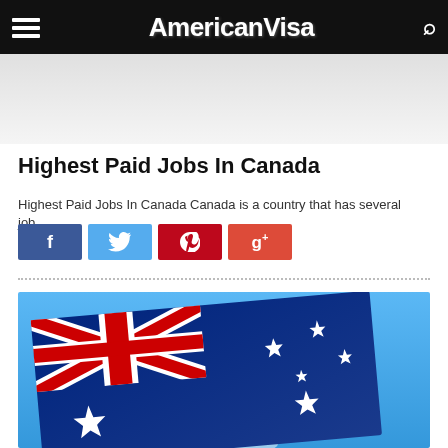AmericanVisa
[Figure (photo): AmericanVisa website banner image (gray/white background)]
Highest Paid Jobs In Canada
Highest Paid Jobs In Canada Canada is a country that has several job...
[Figure (infographic): Social share buttons: Facebook (blue), Twitter (light blue), Pinterest (red), Google+ (red-orange)]
[Figure (photo): Australian flag waving against a blue sky background, showing the Union Jack and Southern Cross stars]